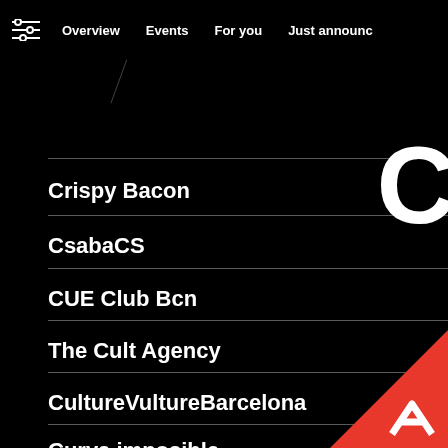Overview  Events  For you  Just announced
Crispy Bacon
CsabaCS
CUE Club Bcn
The Cult Agency
CultureVultureBarcelona
Curva imposible